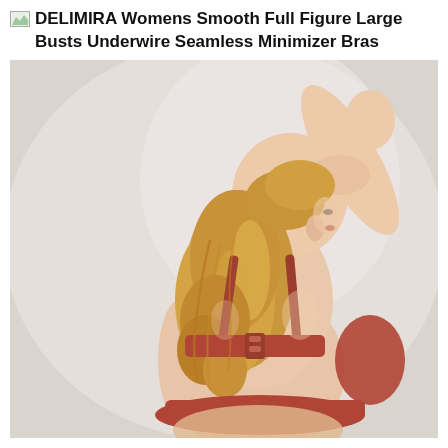DELIMIRA Womens Smooth Full Figure Large Busts Underwire Seamless Minimizer Bras
[Figure (photo): A woman with curly blonde hair worn up, photographed from behind, wearing a rust/terracotta colored minimizer bra. Her right arm is raised up with her hand on her head. The background is light gray/white.]